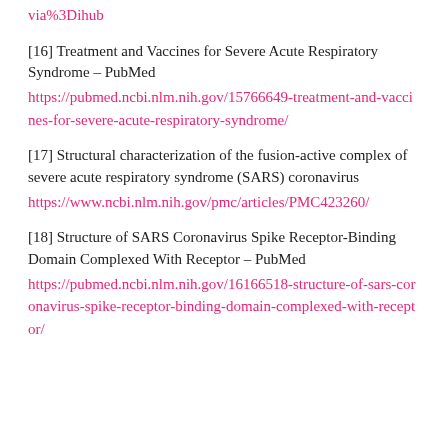via%3Dihub
[16] Treatment and Vaccines for Severe Acute Respiratory Syndrome – PubMed
https://pubmed.ncbi.nlm.nih.gov/15766649-treatment-and-vaccines-for-severe-acute-respiratory-syndrome/
[17] Structural characterization of the fusion-active complex of severe acute respiratory syndrome (SARS) coronavirus
https://www.ncbi.nlm.nih.gov/pmc/articles/PMC423260/
[18] Structure of SARS Coronavirus Spike Receptor-Binding Domain Complexed With Receptor – PubMed
https://pubmed.ncbi.nlm.nih.gov/16166518-structure-of-sars-coronavirus-spike-receptor-binding-domain-complexed-with-receptor/